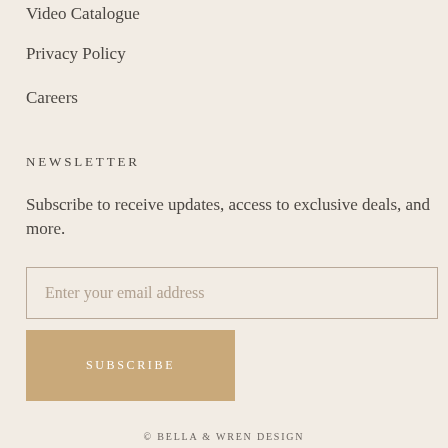Video Catalogue
Privacy Policy
Careers
NEWSLETTER
Subscribe to receive updates, access to exclusive deals, and more.
Enter your email address
SUBSCRIBE
© BELLA & WREN DESIGN